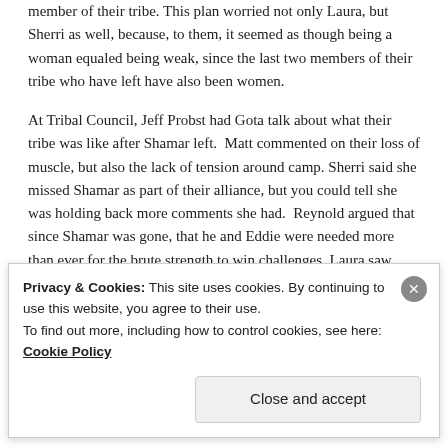member of their tribe. This plan worried not only Laura, but Sherri as well, because, to them, it seemed as though being a woman equaled being weak, since the last two members of their tribe who have left have also been women.
At Tribal Council, Jeff Probst had Gota talk about what their tribe was like after Shamar left. Matt commented on their loss of muscle, but also the lack of tension around camp. Sherri said she missed Shamar as part of their alliance, but you could tell she was holding back more comments she had. Reynold argued that since Shamar was gone, that he and Eddie were needed more than ever for the brute strength to win challenges. Laura saw where Reynold was going, and countered that the tribe had to weigh whether loyalty was
Privacy & Cookies: This site uses cookies. By continuing to use this website, you agree to their use.
To find out more, including how to control cookies, see here: Cookie Policy